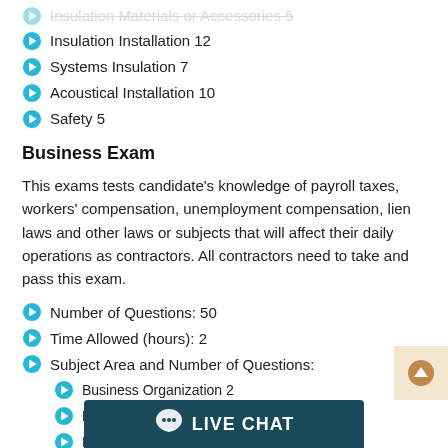Insulation Installation 12
Systems Insulation 7
Acoustical Installation 10
Safety 5
Business Exam
This exams tests candidate's knowledge of payroll taxes, workers' compensation, unemployment compensation, lien laws and other laws or subjects that will affect their daily operations as contractors. All contractors need to take and pass this exam.
Number of Questions: 50
Time Allowed (hours): 2
Subject Area and Number of Questions:
Business Organization 2
Licensi...
Lien la...